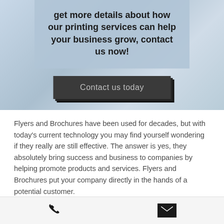[Figure (other): Hero banner with light blue-grey background and a button overlay]
get more details about how our printing services can help your business grow, contact us now!
Contact us today
Flyers and Brochures have been used for decades, but with today's current technology you may find yourself wondering if they really are still effective. The answer is yes, they absolutely bring success and business to companies by helping promote products and services. Flyers and Brochures put your company directly in the hands of a potential customer.
Flyers are a cost effective and notable
[Figure (other): Bottom navigation bar with phone icon and email/envelope icon]